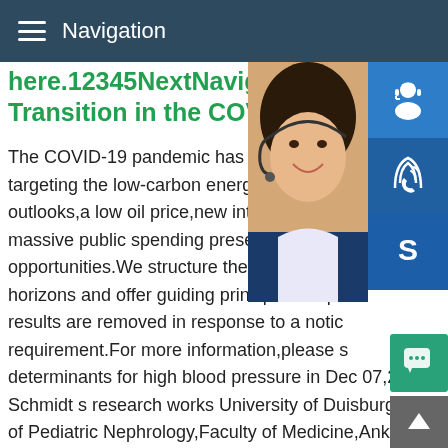Navigation
here.12345NextNavigating th Transition in the COVID-19
The COVID-19 pandemic has major implic targeting the low-carbon energy transition. outlooks,a low oil price,new interest rate e massive public spending present challeng opportunities.We structure the implications horizons and offer guiding principles for po results are removed in response to a notic requirement.For more information,please s determinants for high blood pressure in Dec 07,2019 Carl G Schmidt s research works University of Duisburg#0183;(8)Division of Pediatric Nephrology,Faculty of Medicine,Ankara University,Ankara,Turkey.(9)Olga Children's Hospital,Clinic of Stuttgart,Stuttgart,Germany.(10)Royal Manchester Hospital,Manchester,UK.(11)Center for Children and
[Figure (photo): Woman with headset smiling, customer service representative photo]
[Figure (infographic): Blue icon boxes: headset/customer service icon, phone/call icon, Skype icon stacked vertically on right side]
MANUAL SE
QUOTING O
Email: bsteel1@163.com